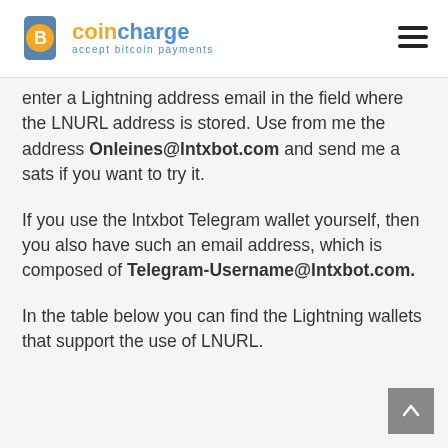coincharge – accept bitcoin payments
enter a Lightning address email in the field where the LNURL address is stored. Use from me the address Onleines@lntxbot.com and send me a sats if you want to try it.
If you use the lntxbot Telegram wallet yourself, then you also have such an email address, which is composed of Telegram-Username@lntxbot.com.
In the table below you can find the Lightning wallets that support the use of LNURL.